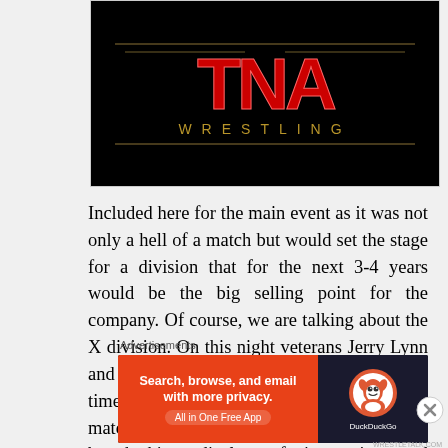[Figure (logo): TNA Wrestling logo on black background - red stylized TNA letters with WRESTLING text below in gold/brown lettering]
Included here for the main event as it was not only a hell of a match but would set the stage for a division that for the next 3-4 years would be the big selling point for the company. Of course, we are talking about the X division. On this night veterans Jerry Lynn and Psychosis shared the ring with, at the time, unknowns Lowki and AJ Styles. The match to crown the first X champion was a breathtaking display of innovation and intensity and was the night AJ Styles began his
Advertisements
[Figure (screenshot): DuckDuckGo advertisement banner - orange left section with text 'Search, browse, and email with more privacy. All in One Free App' and dark right section with DuckDuckGo duck logo]